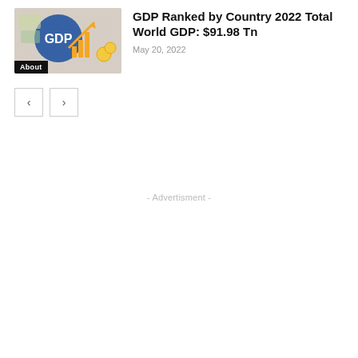[Figure (illustration): Thumbnail image showing GDP graphic with a rising orange arrow/bar chart and 'GDP' text in blue, with coins and currency in background. Black 'About' label in bottom-left corner.]
GDP Ranked by Country 2022 Total World GDP: $91.98 Tn
May 20, 2022
- Advertisment -